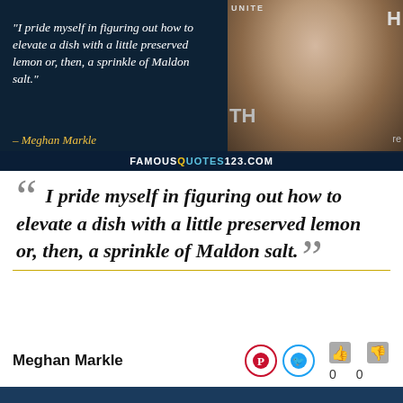[Figure (photo): Quote card with dark navy background showing italic quote text in white, attribution in gold italic, and a photo of Meghan Markle on the right side. Watermark 'FAMOUSQUOTES123.COM' at the bottom of the banner.]
" I pride myself in figuring out how to elevate a dish with a little preserved lemon or, then, a sprinkle of Maldon salt."
Meghan Markle
0  0